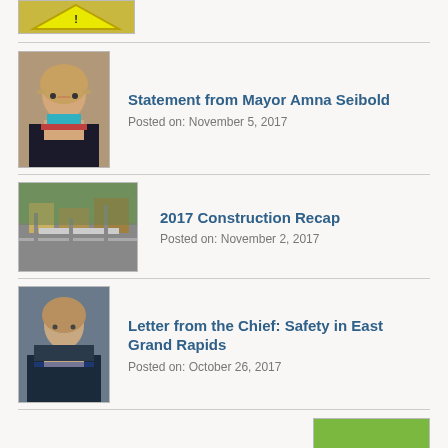[Figure (photo): Partial image at top, yellow/construction sign visible]
Statement from Mayor Amna Seibold
Posted on: November 5, 2017
[Figure (photo): Headshot of Mayor Amna Seibold, woman with glasses]
2017 Construction Recap
Posted on: November 2, 2017
[Figure (photo): Aerial view of construction area]
Letter from the Chief: Safety in East Grand Rapids
Posted on: October 26, 2017
[Figure (photo): Police chief photo]
West Nile Virus
Posted on: July 7, 2020
[Figure (photo): Mosquito on skin, green background]
Residents Invited to “Meet and Greet” Public Safety Officers
Posted on: October 19, 2017
[Figure (photo): Person photo for Meet and Greet article]